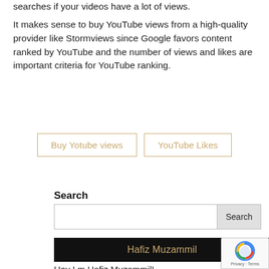searches if your videos have a lot of views.
It makes sense to buy YouTube views from a high-quality provider like Stormviews since Google favors content ranked by YouTube and the number of views and likes are important criteria for YouTube ranking.
[Figure (other): Two bordered buttons side by side: 'Buy Yotube views' and 'YouTube Likes', both with a gold/tan border and gold text on white background.]
Search
[Figure (screenshot): Search input field with a Search button to the right.]
[Figure (screenshot): Black bar with gold text 'Hafiz Muzammil']
Hey I m Hafiz Muzammil!
[Figure (other): reCAPTCHA badge in the bottom right corner showing the reCAPTCHA logo and 'Privacy - Terms' text.]